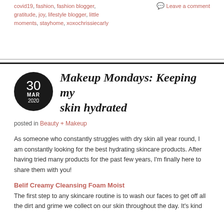covid19, fashion, fashion blogger, gratitude, joy, lifestyle blogger, little moments, stayhome, xoxochrissiecarly
Leave a comment
Makeup Mondays: Keeping my skin hydrated
posted in Beauty + Makeup
As someone who constantly struggles with dry skin all year round, I am constantly looking for the best hydrating skincare products. After having tried many products for the past few years, I'm finally here to share them with you!
Belif Creamy Cleansing Foam Moist
The first step to any skincare routine is to wash our faces to get off all the dirt and grime we collect on our skin throughout the day. It's kind